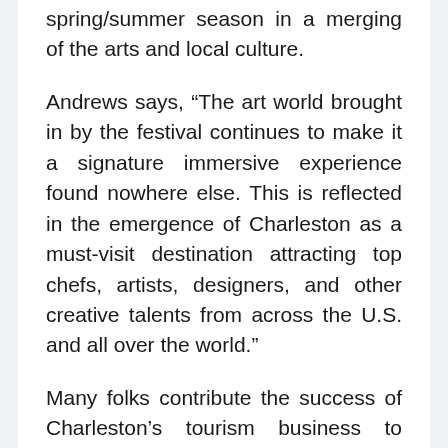spring/summer season in a merging of the arts and local culture.
Andrews says, “The art world brought in by the festival continues to make it a signature immersive experience found nowhere else. This is reflected in the emergence of Charleston as a must-visit destination attracting top chefs, artists, designers, and other creative talents from across the U.S. and all over the world.”
Many folks contribute the success of Charleston’s tourism business to Spoleto Festival USA, and its worldwide following and adoration. The founders of Spoleto wanted a metropolis with appeal and class plus a wealth of theaters, church buildings, and different efficiency areas to host the various actions of